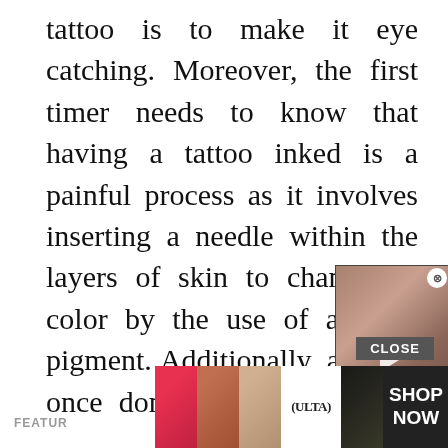tattoo is to make it eye catching. Moreover, the first timer needs to know that having a tattoo inked is a painful process as it involves inserting a needle within the layers of skin to change its color by the use of a color pigment. Additionally, a tattoo once done will be a pa[rt of your life as] tattoos are permanen[t. So, before] you choose to have a [tattoo on any] part of your body, it ha[s to be done after a] whole lot of contemplation and thoughtful selection of design.
[Figure (screenshot): Video popup overlay showing a man's face, partially obscuring the article text. Has a play button, a green caption box, and a close (X) button in the top right.]
[Figure (screenshot): Bottom advertisement banner for Ulta Beauty showing cosmetics imagery with 'CLOSE' button and 'SHOP NOW' call to action, partially overlaid on the page content.]